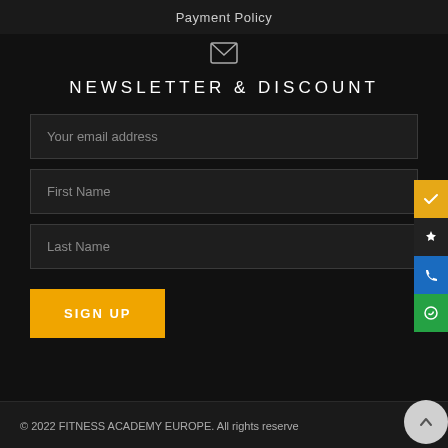Payment Policy
NEWSLETTER & DISCOUNT
Your email address
First Name
Last Name
SIGN UP
© 2022 FITNESS ACADEMY EUROPE. All rights reserved